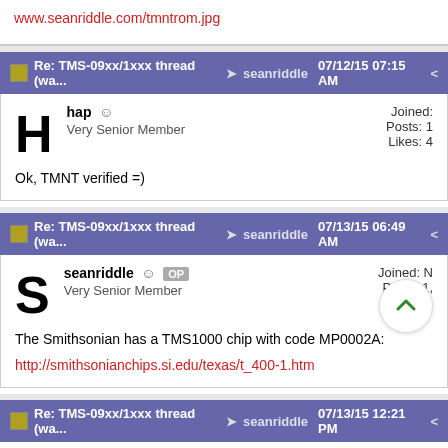www.seanriddle.com/tmntrom.jpg
Re: TMS-09xx/1xxx thread (wa... → seanriddle 07/12/15 07:15 AM
hap 😐
Very Senior Member
Joined:
Posts: 1
Likes: 4
Ok, TMNT verified =)
Re: TMS-09xx/1xxx thread (wa... → seanriddle 07/13/15 06:49 AM
seanriddle 😐 OP
Very Senior Member
Joined:
Posts: 1
The Smithsonian has a TMS1000 chip with code MP0002A:
http://smithsonianchips.si.edu/texas/t_400-1.htm
Re: TMS-09xx/1xxx thread (wa... → seanriddle 07/13/15 12:21 PM